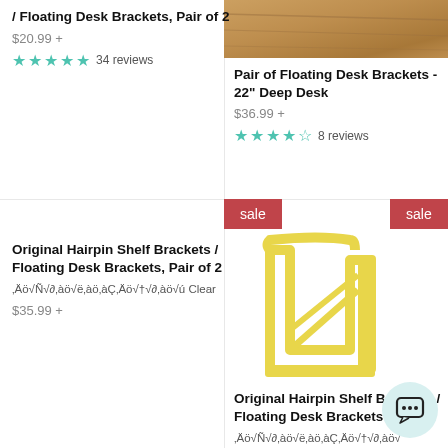/ Floating Desk Brackets, Pair of 2
$20.99 +
★★★★★ 34 reviews
[Figure (photo): Photo of wooden desk surface at top right]
Pair of Floating Desk Brackets - 22" Deep Desk
$36.99 +
★★★★☆ 8 reviews
sale
Original Hairpin Shelf Brackets / Floating Desk Brackets, Pair of 2
‚Äö√Ñ√∂‚àö√ë‚àö‚àÇ‚Äö√†√∂‚àö√ú Clear
$35.99 +
sale
[Figure (photo): Yellow hairpin shelf bracket / floating desk bracket product image]
Original Hairpin Shelf Brackets / Floating Desk Brackets 2
‚Äö√Ñ√∂‚àö√ë‚àö‚àÇ‚Äö√†√∂‚àö√